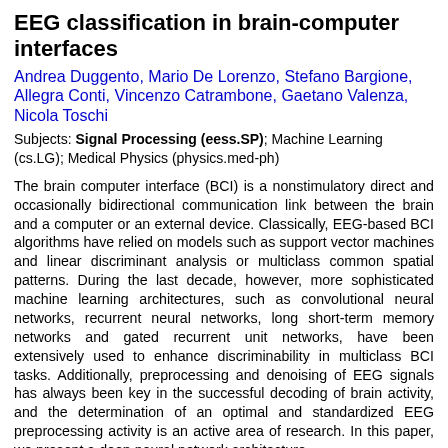EEG classification in brain-computer interfaces
Andrea Duggento, Mario De Lorenzo, Stefano Bargione, Allegra Conti, Vincenzo Catrambone, Gaetano Valenza, Nicola Toschi
Subjects: Signal Processing (eess.SP); Machine Learning (cs.LG); Medical Physics (physics.med-ph)
The brain computer interface (BCI) is a nonstimulatory direct and occasionally bidirectional communication link between the brain and a computer or an external device. Classically, EEG-based BCI algorithms have relied on models such as support vector machines and linear discriminant analysis or multiclass common spatial patterns. During the last decade, however, more sophisticated machine learning architectures, such as convolutional neural networks, recurrent neural networks, long short-term memory networks and gated recurrent unit networks, have been extensively used to enhance discriminability in multiclass BCI tasks. Additionally, preprocessing and denoising of EEG signals has always been key in the successful decoding of brain activity, and the determination of an optimal and standardized EEG preprocessing activity is an active area of research. In this paper, we present a deep neural network architecture